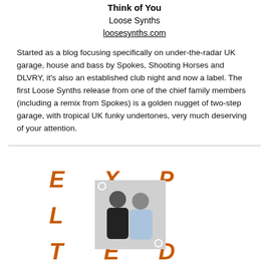Think of You
Loose Synths
loosesynths.com
Started as a blog focusing specifically on under-the-radar UK garage, house and bass by Spokes, Shooting Horses and DLVRY, it's also an established club night and now a label. The first Loose Synths release from one of the chief family members (including a remix from Spokes) is a golden nugget of two-step garage, with tropical UK funky undertones, very much deserving of your attention.
[Figure (logo): EXPLITED logo with large orange italic letters E, X, P, L, I, T, E, D arranged around a central photo of two men]